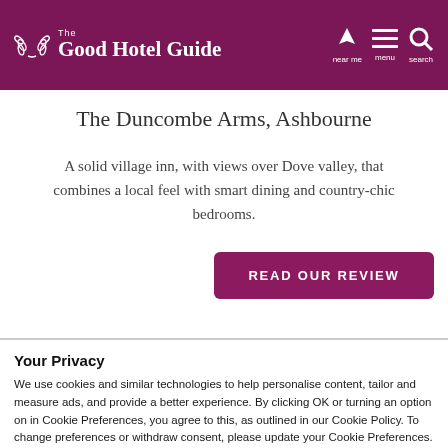The Good Hotel Guide — near me | menu | search
The Duncombe Arms, Ashbourne
A solid village inn, with views over Dove valley, that combines a local feel with smart dining and country-chic bedrooms.
READ OUR REVIEW
Your Privacy
We use cookies and similar technologies to help personalise content, tailor and measure ads, and provide a better experience. By clicking OK or turning an option on in Cookie Preferences, you agree to this, as outlined in our Cookie Policy. To change preferences or withdraw consent, please update your Cookie Preferences.
OK
Cookie Preferences